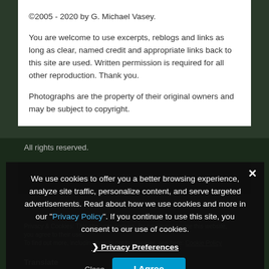©2005 - 2020 by G. Michael Vasey.
You are welcome to use excerpts, reblogs and links as long as clear, named credit and appropriate links back to this site are used. Written permission is required for all other reproduction. Thank you.
Photographs are the property of their original owners and may be subject to copyright.
All rights reserved.
[Figure (screenshot): Dark bar with ghost story site label text]
Privacy & Cookies: This site uses cookies. By continuing to use this website, you agree to their use. To find out more, including how to control cookies, see here: Cookie Policy
We use cookies to offer you a better browsing experience, analyze site traffic, personalize content, and serve targeted advertisements. Read about how we use cookies and more in our "Privacy Policy". If you continue to use this site, you consent to our use of cookies.
❯ Privacy Preferences
I Agree
Translate